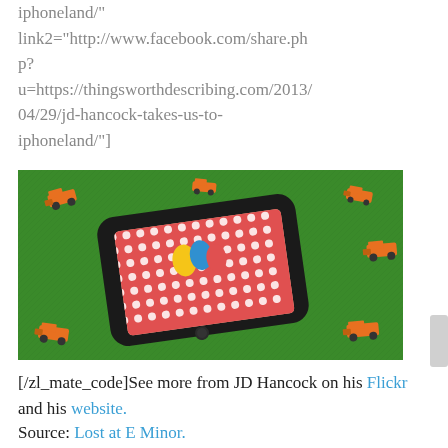iphoneland/"
link2="http://www.facebook.com/share.php?u=https://thingsworthdescribing.com/2013/04/29/jd-hancock-takes-us-to-iphoneland/"]
[Figure (photo): iPhone placed on green artificial grass surface displaying a red and white polka dot pattern on screen, surrounded by orange toy construction vehicles (LEGO-style bulldozers)]
[/zl_mate_code]See more from JD Hancock on his Flickr and his website.
Source: Lost at E Minor.